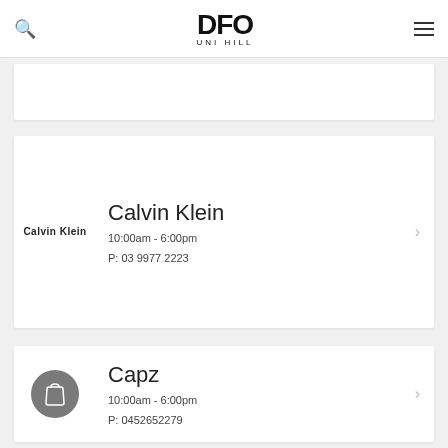DFO UNI HILL
Calvin Klein
10:00am - 6:00pm
P: 03 9977 2223
Capz
10:00am - 6:00pm
P: 0452652279